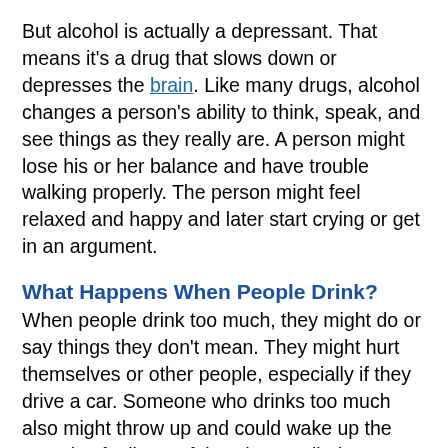But alcohol is actually a depressant. That means it's a drug that slows down or depresses the brain. Like many drugs, alcohol changes a person's ability to think, speak, and see things as they really are. A person might lose his or her balance and have trouble walking properly. The person might feel relaxed and happy and later start crying or get in an argument.
What Happens When People Drink?
When people drink too much, they might do or say things they don't mean. They might hurt themselves or other people, especially if they drive a car. Someone who drinks too much also might throw up and could wake up the next day feeling awful — that's called a hangover.
Drinking too much alcohol can lead to alcohol